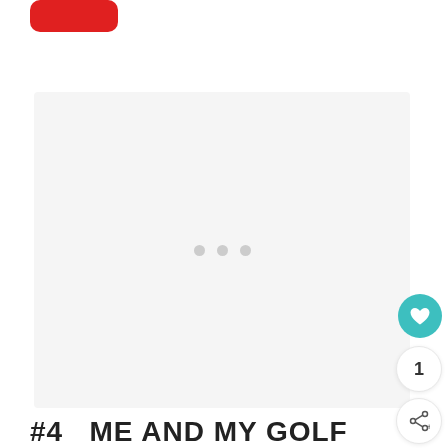[Figure (other): Red rounded rectangle button/logo element at top left]
[Figure (other): Large light gray image placeholder card with three gray loading dots centered, heart/favorite button (teal circle), count badge showing 1, and share button on the right side]
#4   ME AND MY GOLF